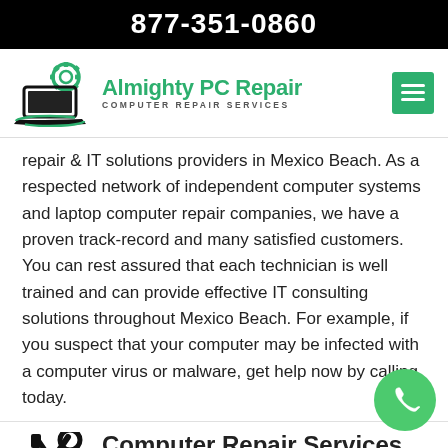877-351-0860
[Figure (logo): Almighty PC Repair logo with laptop and gear icon, green text reading 'Almighty PC Repair' and subtitle 'COMPUTER REPAIR SERVICES']
repair & IT solutions providers in Mexico Beach. As a respected network of independent computer systems and laptop computer repair companies, we have a proven track-record and many satisfied customers. You can rest assured that each technician is well trained and can provide effective IT consulting solutions throughout Mexico Beach. For example, if you suspect that your computer may be infected with a computer virus or malware, get help now by calling today.
Computer Repair Services in Mexico Beach